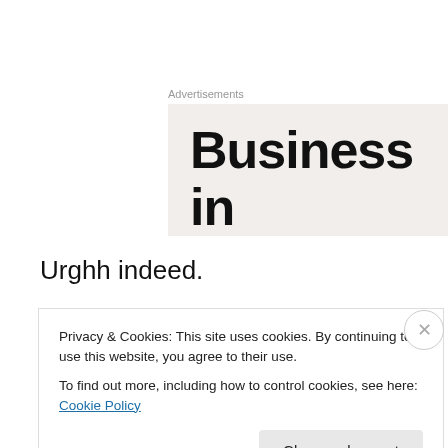Advertisements
[Figure (other): Advertisement banner with text 'Business in the front' on light beige background]
Urghh indeed.
Danny Sinofsky goes blind from trauma in the midst of a weapons bust (he is police-y); Martha Crowe, is his mobility instructor, supposed to assist in his rehabilitations
Privacy & Cookies: This site uses cookies. By continuing to use this website, you agree to their use.
To find out more, including how to control cookies, see here: Cookie Policy